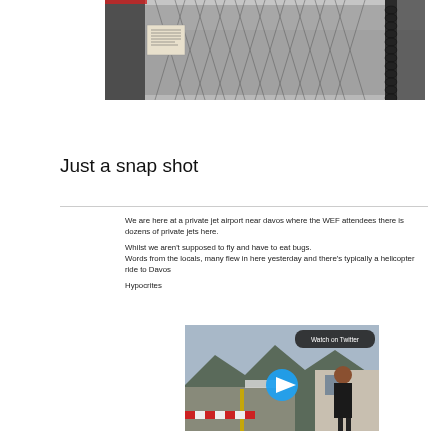[Figure (photo): Photo of a metal chain-link fence gate at what appears to be a private jet airport]
Just a snap shot
[Figure (screenshot): Screenshot of a tweet/social media post with text about WEF attendees at a private jet airport near Davos, with an embedded video thumbnail showing a woman standing in front of an airport with mountains in background and a 'Watch on Twitter' button]
We are here at a private jet airport near davos where the WEF attendees there is dozens of private jets here.

Whilst we aren't supposed to fly and have to eat bugs.
Words from the locals, many flew in here yesterday and there's typically a helicopter ride to Davos

Hypocrites